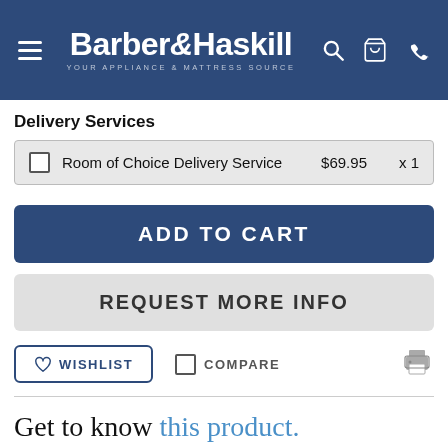[Figure (logo): Barber & Haskill logo with tagline 'YOUR APPLIANCE & MATTRESS SOURCE' on dark blue header bar with hamburger menu, search, cart, and phone icons]
Delivery Services
|  | Service | Price | Qty |
| --- | --- | --- | --- |
| ☐ | Room of Choice Delivery Service | $69.95 | x 1 |
ADD TO CART
REQUEST MORE INFO
♡ WISHLIST   ☐ COMPARE
Get to know this product.